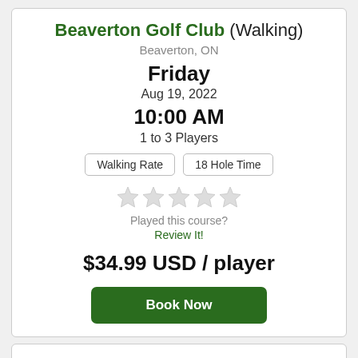Beaverton Golf Club (Walking)
Beaverton, ON
Friday
Aug 19, 2022
10:00 AM
1 to 3 Players
Walking Rate | 18 Hole Time
Played this course? Review It!
$34.99 USD / player
Book Now
Beaverton Golf Club
Beaverton, ON